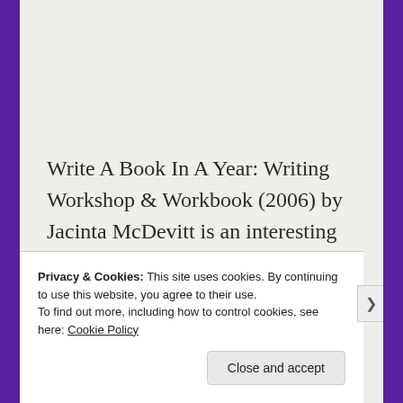Write A Book In A Year: Writing Workshop & Workbook (2006) by Jacinta McDevitt is an interesting and well put together book helping writers with their writing by a fellow writer.
Privacy & Cookies: This site uses cookies. By continuing to use this website, you agree to their use.
To find out more, including how to control cookies, see here: Cookie Policy